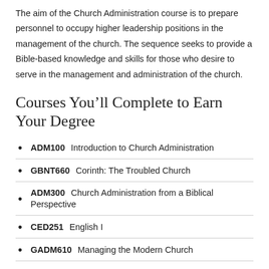The aim of the Church Administration course is to prepare personnel to occupy higher leadership positions in the management of the church. The sequence seeks to provide a Bible-based knowledge and skills for those who desire to serve in the management and administration of the church.
Courses You'll Complete to Earn Your Degree
ADM100 Introduction to Church Administration
GBNT660 Corinth: The Troubled Church
ADM300 Church Administration from a Biblical Perspective
CED251 English I
GADM610 Managing the Modern Church